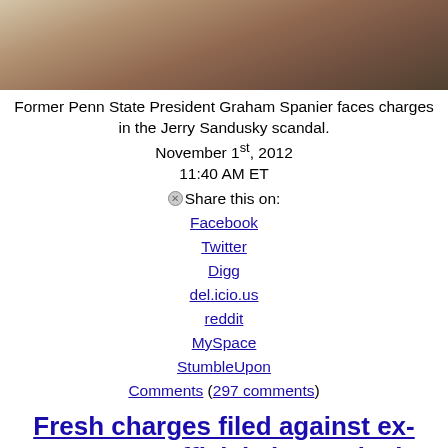[Figure (photo): Photo of a man in a suit, background blurred]
Former Penn State President Graham Spanier faces charges in the Jerry Sandusky scandal.
November 1st, 2012
11:40 AM ET
Share this on: Facebook Twitter Digg del.icio.us reddit MySpace StumbleUpon Comments (297 comments)
Fresh charges filed against ex-Penn State officials in Sandusky case
[Updated at 1:01 p.m. ET] New charges have been filed against three former Penn State officials in the Jerry Sandusky child rape scandal, accused of having "used their positions to conceal and cover up for years the activities of a known child predator."